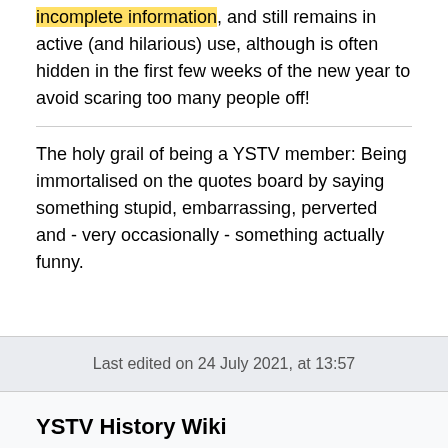incomplete information, and still remains in active (and hilarious) use, although is often hidden in the first few weeks of the new year to avoid scaring too many people off!
The holy grail of being a YSTV member: Being immortalised on the quotes board by saying something stupid, embarrassing, perverted and - very occasionally - something actually funny.
Last edited on 24 July 2021, at 13:57
YSTV History Wiki
Privacy policy • Desktop